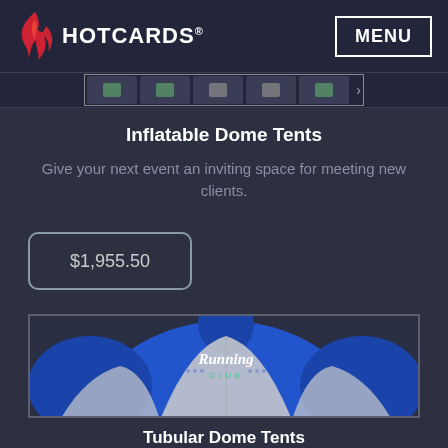HOTCARDS® MENU
Inflatable Dome Tents
Give your next event an inviting space for meeting new clients.
$1,955.50
[Figure (illustration): Blue inflatable dome tent with 'Running Club' text printed on it, shown from the front. The tent has white curved panels and a blue outer shell.]
Tubular Dome Tents